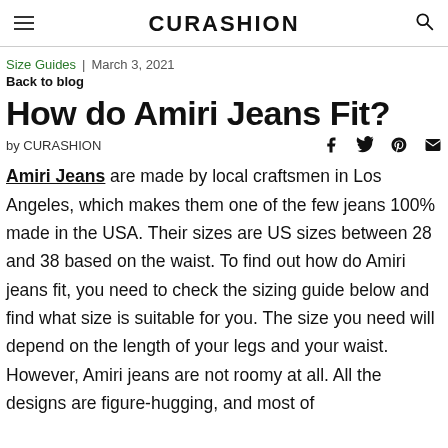CURASHION
Size Guides | March 3, 2021
Back to blog
How do Amiri Jeans Fit?
by CURASHION
Amiri Jeans are made by local craftsmen in Los Angeles, which makes them one of the few jeans 100% made in the USA. Their sizes are US sizes between 28 and 38 based on the waist. To find out how do Amiri jeans fit, you need to check the sizing guide below and find what size is suitable for you. The size you need will depend on the length of your legs and your waist. However, Amiri jeans are not roomy at all. All the designs are figure-hugging, and most of